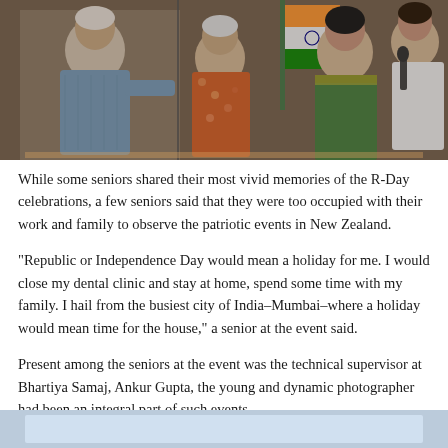[Figure (photo): Group photo of senior Indian community members at an event. From left: an elderly man in blue checked shirt gesturing, a woman in orange floral dress, a woman in green embroidered sari, and a man in white shirt speaking into a microphone. An Indian flag is visible in the background.]
While some seniors shared their most vivid memories of the R-Day celebrations, a few seniors said that they were too occupied with their work and family to observe the patriotic events in New Zealand.
"Republic or Independence Day would mean a holiday for me. I would close my dental clinic and stay at home, spend some time with my family. I hail from the busiest city of India–Mumbai–where a holiday would mean time for the house," a senior at the event said.
Present among the seniors at the event was the technical supervisor at Bhartiya Samaj, Ankur Gupta, the young and dynamic photographer had been an integral part of such events.
[Figure (photo): Partial photo visible at the bottom of the page, appears to show another scene from the event with a light blue/white background.]